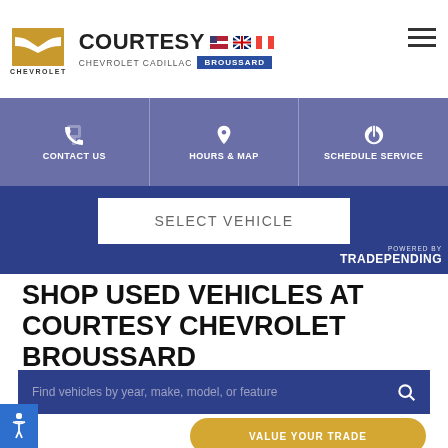Courtesy Chevrolet Cadillac Broussard - Chevrolet dealer
CONTACT US | HOURS & MAP | SCHEDULE SERVICE
SELECT VEHICLE
POWERED BY TRADEPENDING
SHOP USED VEHICLES AT COURTESY CHEVROLET BROUSSARD
Find vehicles by year, make, model, or feature
VALUE YOUR TRADE